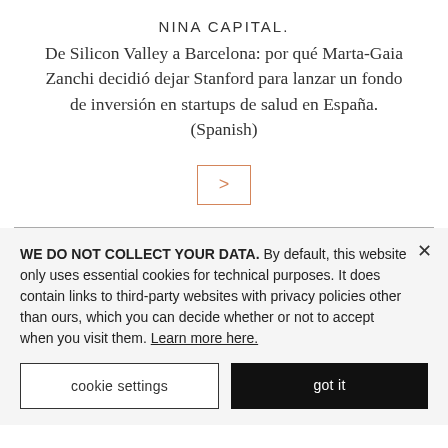NINA CAPITAL.
De Silicon Valley a Barcelona: por qué Marta-Gaia Zanchi decidió dejar Stanford para lanzar un fondo de inversión en startups de salud en España. (Spanish)
[Figure (other): Orange outlined box with a right-pointing arrow (>) button]
WE DO NOT COLLECT YOUR DATA. By default, this website only uses essential cookies for technical purposes. It does contain links to third-party websites with privacy policies other than ours, which you can decide whether or not to accept when you visit them. Learn more here.